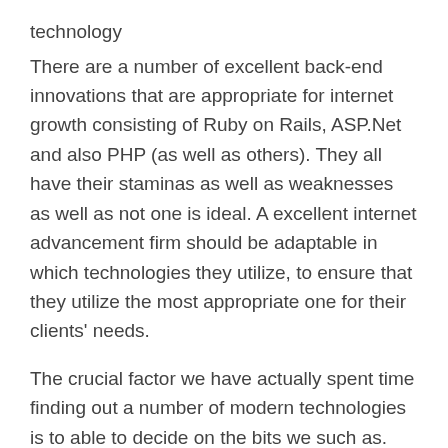technology
There are a number of excellent back-end innovations that are appropriate for internet growth consisting of Ruby on Rails, ASP.Net and also PHP (as well as others). They all have their staminas as well as weaknesses as well as not one is ideal. A excellent internet advancement firm should be adaptable in which technologies they utilize, to ensure that they utilize the most appropriate one for their clients' needs.
The crucial factor we have actually spent time finding out a number of modern technologies is to able to decide on the bits we such as. Throughout the years the designers associated with The Organization have actually had the ability to take